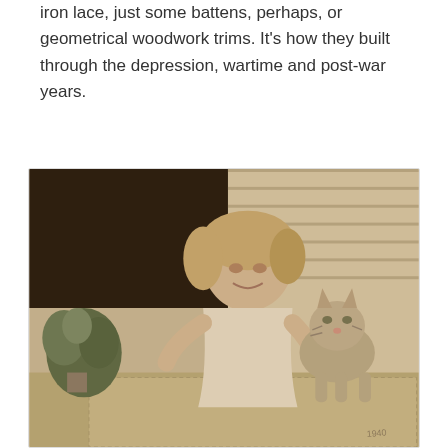iron lace, just some battens, perhaps, or geometrical woodwork trims. It's how they built through the depression, wartime and post-war years.
[Figure (photo): Sepia-toned vintage photograph of a young girl with short blonde hair, smiling, holding a kitten, sitting on what appears to be a porch or doorstep with a plant to the left and clapboard siding visible in the background.]